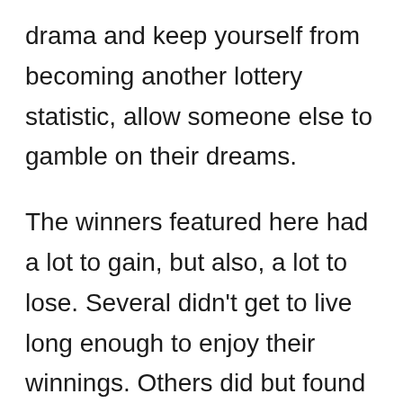drama and keep yourself from becoming another lottery statistic, allow someone else to gamble on their dreams.

The winners featured here had a lot to gain, but also, a lot to lose. Several didn't get to live long enough to enjoy their winnings. Others did but found that the people around them tried to exploit their fortune from them. Only